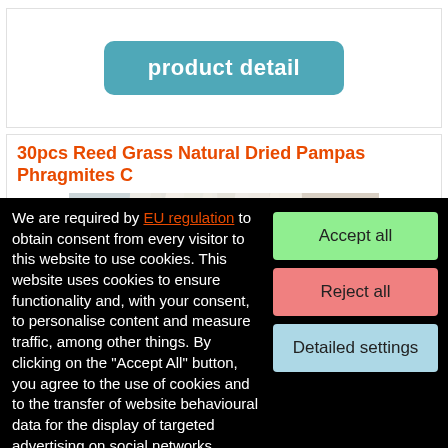product detail
30pcs Reed Grass Natural Dried Pampas Phragmites C
[Figure (photo): Photo of dried white pampas grass arranged in a vase on a table with decorative setting in a bright room]
We are required by EU regulation to obtain consent from every visitor to this website to use cookies. This website uses cookies to ensure functionality and, with your consent, to personalise content and measure traffic, among other things. By clicking on the "Accept All" button, you agree to the use of cookies and to the transfer of website behavioural data for the display of targeted advertising on social networks, advertising networks on other sites.